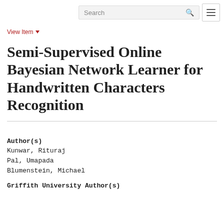Search [search icon] [menu button]
View Item ▼
Semi-Supervised Online Bayesian Network Learner for Handwritten Characters Recognition
Author(s)
Kunwar, Rituraj
Pal, Umapada
Blumenstein, Michael
Griffith University Author(s)